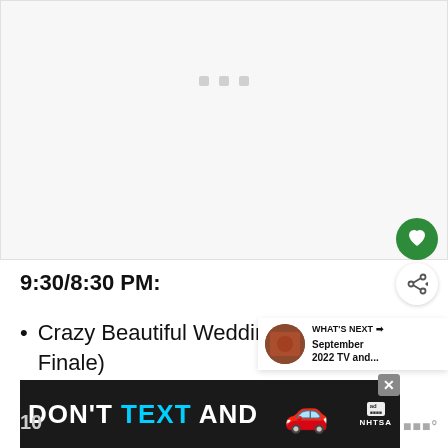[Figure (screenshot): White/light gray content placeholder area with three small gray squares in the center, representing a loading or empty media area]
[Figure (other): Green circular heart/favorite button]
9:30/8:30 PM:
[Figure (other): White circular share button with share icon]
Crazy Beautiful Weddings (UP, Finale)
[Figure (other): WHAT'S NEXT panel showing September 2022 TV and...]
[Figure (other): DON'T TEXT AND advertisement banner with car emoji and NHTSA logo]